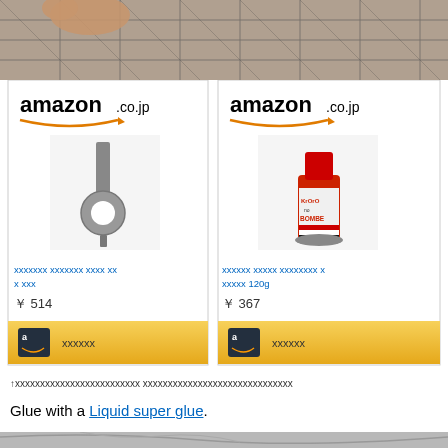[Figure (photo): Top photo showing a cutting mat with grid lines and a hand/finger visible]
[Figure (screenshot): Two Amazon.co.jp product cards: left card shows a metal tool product priced ¥514, right card shows Kyoto Bombe liquid super glue 120g priced ¥367]
↑xxxxxxxxxxxxxxxx xxxxxxxxxxxxxxxxxxxxxx
Glue with a Liquid super glue.
[Figure (photo): Bottom photo showing grey foam/rubber material with cut patterns, resembling shoe sole pieces]